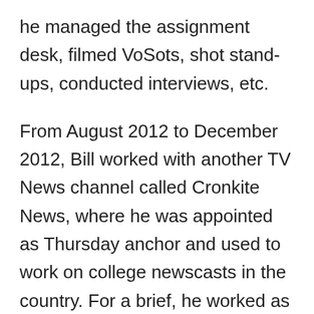he managed the assignment desk, filmed VoSots, shot stand-ups, conducted interviews, etc.
From August 2012 to December 2012, Bill worked with another TV News channel called Cronkite News, where he was appointed as Thursday anchor and used to work on college newscasts in the country. For a brief, he worked as a reporter at KFOX 14, where he was the Lead nightside reporter responsible for the several live shots for both 5 pm/9 pm newscast,